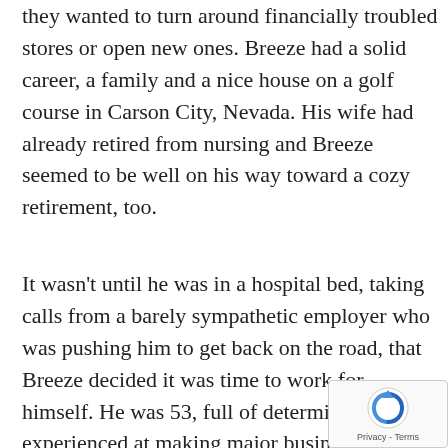they wanted to turn around financially troubled stores or open new ones. Breeze had a solid career, a family and a nice house on a golf course in Carson City, Nevada. His wife had already retired from nursing and Breeze seemed to be well on his way toward a cozy retirement, too.
It wasn't until he was in a hospital bed, taking calls from a barely sympathetic employer who was pushing him to get back on the road, that Breeze decided it was time to work for himself. He was 53, full of determination and experienced at making major business decisions. In October 2001, Breeze opened a House of Bread Bakery Cafe franchise operation in Reno. As the owner of the company's